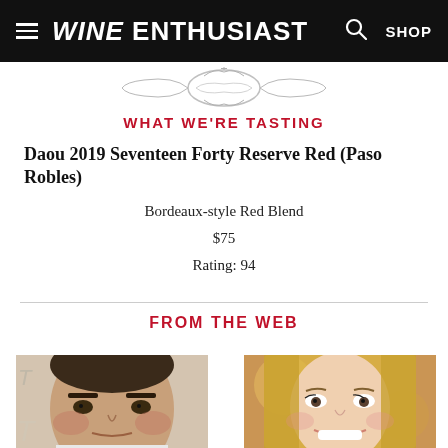WINE ENTHUSIAST | SHOP
[Figure (illustration): Decorative ornamental design, silver/gray filigree motif centered on white background]
WHAT WE'RE TASTING
Daou 2019 Seventeen Forty Reserve Red (Paso Robles)
Bordeaux-style Red Blend
$75
Rating: 94
FROM THE WEB
[Figure (photo): Headshot photo of a middle-aged man with dark hair, reddish complexion, wearing white clothing, partial text visible in background]
[Figure (photo): Headshot photo of a young blonde woman smiling, wearing makeup, blurred colorful background]